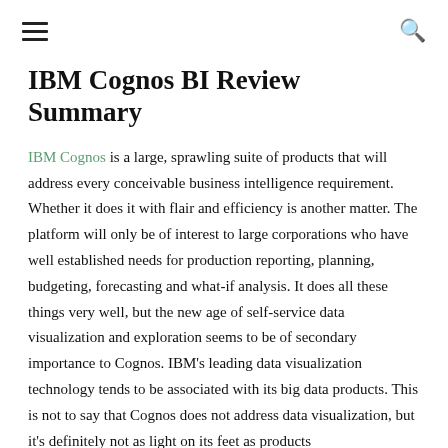≡  🔍
IBM Cognos BI Review Summary
IBM Cognos is a large, sprawling suite of products that will address every conceivable business intelligence requirement. Whether it does it with flair and efficiency is another matter. The platform will only be of interest to large corporations who have well established needs for production reporting, planning, budgeting, forecasting and what-if analysis. It does all these things very well, but the new age of self-service data visualization and exploration seems to be of secondary importance to Cognos. IBM's leading data visualization technology tends to be associated with its big data products. This is not to say that Cognos does not address data visualization, but it's definitely not as light on its feet as products